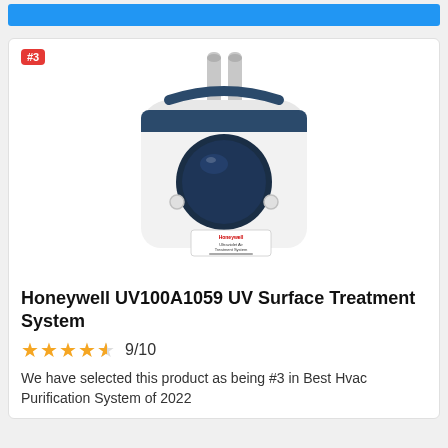[Figure (other): Blue strip at top of page]
[Figure (photo): Honeywell UV100A1059 UV Surface Treatment System product photo — white and navy blue device with two UV lamp tubes protruding from the top, a circular dark blue lens/housing in the center front, Honeywell branding label on the lower front face]
Honeywell UV100A1059 UV Surface Treatment System
9/10
We have selected this product as being #3 in Best Hvac Purification System of 2022